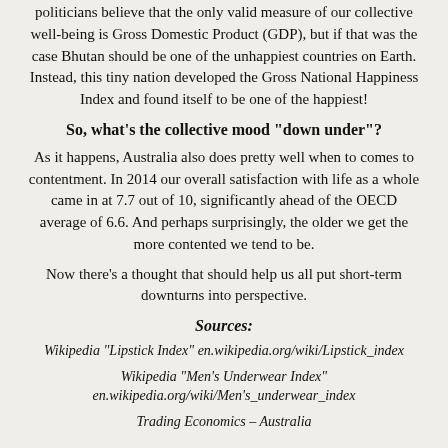politicians believe that the only valid measure of our collective well-being is Gross Domestic Product (GDP), but if that was the case Bhutan should be one of the unhappiest countries on Earth. Instead, this tiny nation developed the Gross National Happiness Index and found itself to be one of the happiest!
So, what’s the collective mood “down under”?
As it happens, Australia also does pretty well when to comes to contentment. In 2014 our overall satisfaction with life as a whole came in at 7.7 out of 10, significantly ahead of the OECD average of 6.6. And perhaps surprisingly, the older we get the more contented we tend to be.
Now there’s a thought that should help us all put short-term downturns into perspective.
Sources:
Wikipedia “Lipstick Index” en.wikipedia.org/wiki/Lipstick_index
Wikipedia “Men’s Underwear Index” en.wikipedia.org/wiki/Men's_underwear_index
Trading Economics – Australia